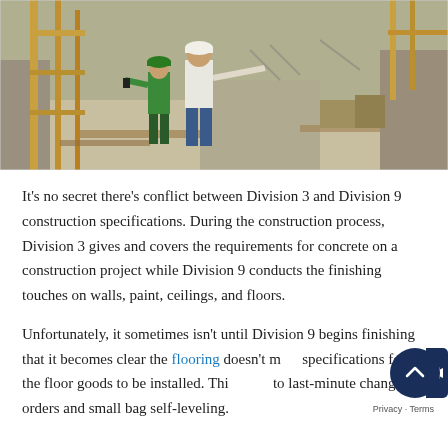[Figure (photo): Two construction workers in hard hats on a construction site with scaffolding, one pointing into the distance]
It’s no secret there’s conflict between Division 3 and Division 9 construction specifications. During the construction process, Division 3 gives and covers the requirements for concrete on a construction project while Division 9 conducts the finishing touches on walls, paint, ceilings, and floors.
Unfortunately, it sometimes isn’t until Division 9 begins finishing that it becomes clear the flooring doesn’t meet specifications for the floor goods to be installed. This leads to last-minute change orders and small bag self-leveling.